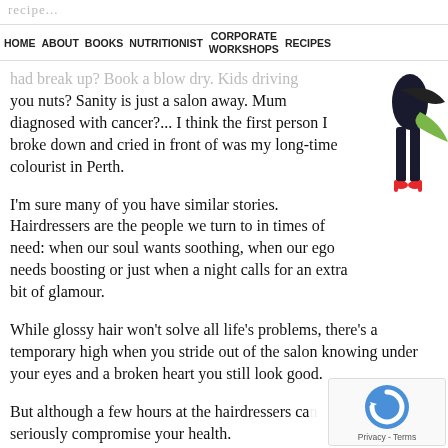HOME  ABOUT  BOOKS  NUTRITIONIST  CORPORATE WORKSHOPS  RECIPES
had break up? Book a blow dry. Kids driving you nuts? Sanity is just a salon away. Mum diagnosed with cancer?... I think the first person I broke down and cried in front of was my long-time colourist in Perth.
I'm sure many of you have similar stories. Hairdressers are the people we turn to in times of need: when our soul wants soothing, when our ego needs boosting or just when a night calls for an extra bit of glamour.
While glossy hair won't solve all life's problems, there's a temporary high when you stride out of the salon knowing under your eyes and a broken heart you still look good.
But although a few hours at the hairdressers can seriously compromise your health.